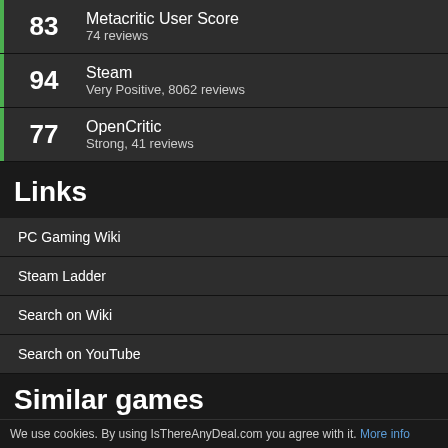| Score | Source | Details |
| --- | --- | --- |
| 83 | Metacritic User Score | 74 reviews |
| 94 | Steam | Very Positive, 8062 reviews |
| 77 | OpenCritic | Strong, 41 reviews |
Links
PC Gaming Wiki
Steam Ladder
Search on Wiki
Search on YouTube
Similar games
[Figure (photo): Claustrophobia game logo/artwork with gothic horror text on dark background]
We use cookies. By using IsThereAnyDeal.com you agree with it. More info